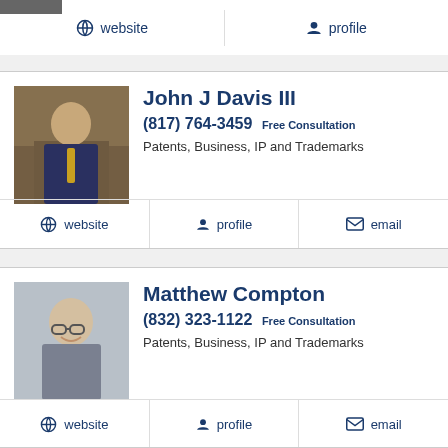[Figure (photo): Partial photo of a person at top of page]
website
profile
[Figure (photo): Photo of John J Davis III, a man in a suit in front of bookshelves]
John J Davis III
(817) 764-3459 Free Consultation
Patents, Business, IP and Trademarks
website
profile
email
[Figure (photo): Photo of Matthew Compton, a man with glasses smiling]
Matthew Compton
(832) 323-1122 Free Consultation
Patents, Business, IP and Trademarks
website
profile
email